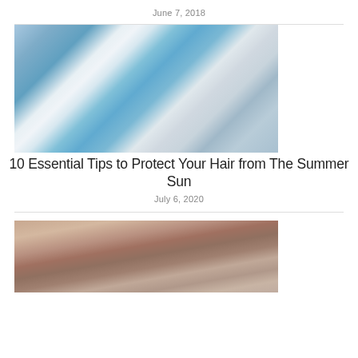June 7, 2018
[Figure (photo): Man with sunglasses smiling at a luxury pool resort on a sunny day]
10 Essential Tips to Protect Your Hair from The Summer Sun
July 6, 2020
[Figure (photo): Person with wet hair partially submerged at pool edge, close-up shot]